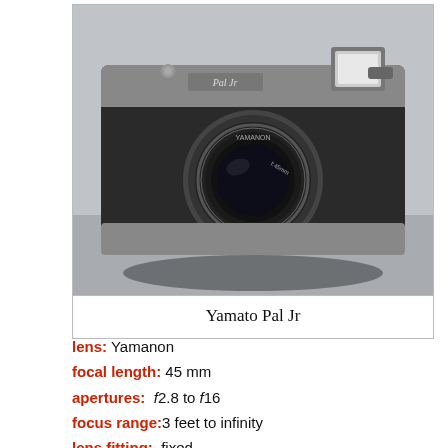[Figure (photo): Photograph of a Yamato Pal Jr film camera with silver body, black leatherette covering, and Yamanon lens, displayed front-facing on a grey surface.]
Yamato Pal Jr
lens: Yamanon
focal length: 45 mm
apertures: ƒ2.8 to ƒ16
focus range: 3 feet to infinity
lens fitting: fixed
shutter: proprietary leaf
speeds: 1/25, 1/50, 1/100, 1/300